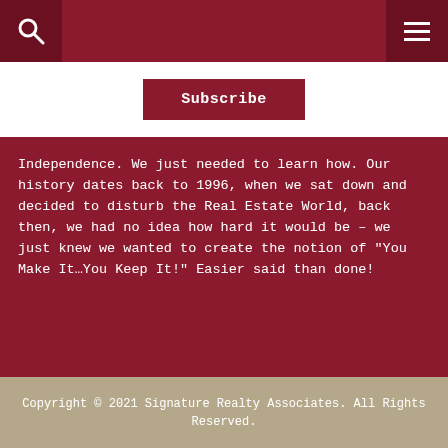[Figure (other): Header navigation bar with dark red background, search icon on left, hamburger menu icon on right]
Subscribe
Independence. We just needed to learn how. Our history dates back to 1996, when we sat down and decided to disturb the Real Estate World, back then, we had no idea how hard it would be – we just knew we wanted to create the notion of "You Make It…You Keep It!" Easier said than done!
Copyright © 2021 Signature Realty Associates. All Rights Reserved.